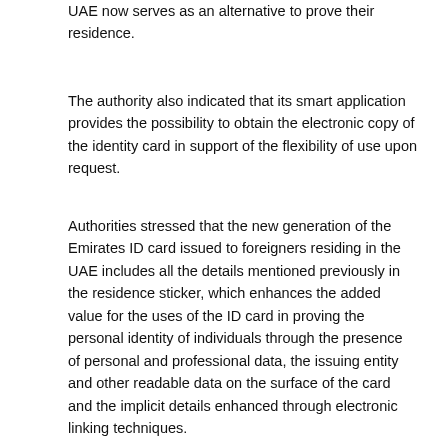UAE now serves as an alternative to prove their residence.
The authority also indicated that its smart application provides the possibility to obtain the electronic copy of the identity card in support of the flexibility of use upon request.
Authorities stressed that the new generation of the Emirates ID card issued to foreigners residing in the UAE includes all the details mentioned previously in the residence sticker, which enhances the added value for the uses of the ID card in proving the personal identity of individuals through the presence of personal and professional data, the issuing entity and other readable data on the surface of the card and the implicit details enhanced through electronic linking techniques.